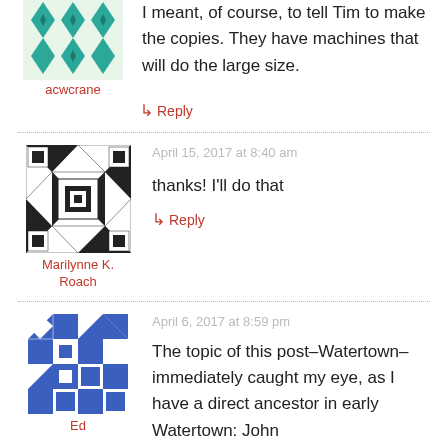[Figure (illustration): Green geometric snowflake/quilt pattern avatar for user acwcrane]
I meant, of course, to tell Tim to make the copies. They have machines that will do the large size.
acwcrane
↳ Reply
[Figure (illustration): Black and white geometric quilt pattern avatar for user Marilynne K. Roach]
April 15, 2017 at 8:40 am
thanks! I'll do that
Marilynne K. Roach
↳ Reply
[Figure (illustration): Blue and white geometric quilt pattern avatar for user Ed]
April 6, 2017 at 8:59 pm
The topic of this post–Watertown–immediately caught my eye, as I have a direct ancestor in early Watertown: John
Ed